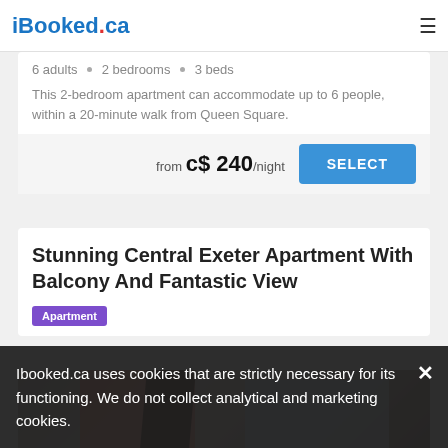iBooked.ca
6 adults • 2 bedrooms • 3 beds
This 2-bedroom apartment can accommodate up to 6 people, within a 20-minute walk from Queen Square.
from c$ 240/night
Stunning Central Exeter Apartment With Balcony And Fantastic View
Apartment
[Figure (photo): Interior photo of the apartment showing a room with an orange/red wall, a dark wooden beam, large windows with natural light, and a computer monitor.]
Ibooked.ca uses cookies that are strictly necessary for its functioning. We do not collect analytical and marketing cookies.